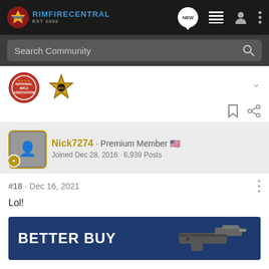RIMFIRECENTRAL
Search Community
[Figure (illustration): Two badge icons: NRA circular badge and a gold star sheriff badge]
Nick7274 · Premium Member
Joined Dec 28, 2016 · 6,939 Posts
#18 · Dec 16, 2021
Lol!
[Figure (screenshot): Advertisement banner with text BETTER BUY and an image of a firearm on blue background]